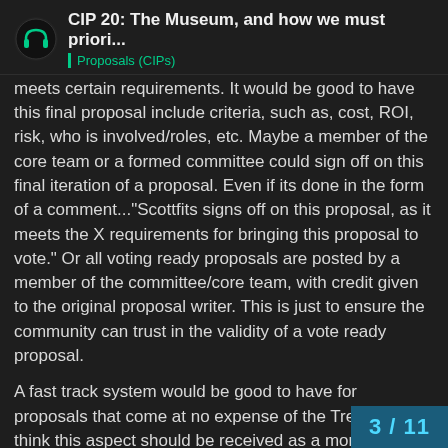CIP 20: The Museum, and how we must priori... | Proposals (CIPs)
meets certain requirements. It would be good to have this final proposal include criteria, such as, cost, ROI, risk, who is involved/roles, etc. Maybe a member of the core team or a formed committee could sign off on this final iteration of a proposal. Even if its done in the form of a comment..."Scottfits signs off on this proposal, as it meets the X requirements for bringing this proposal to vote." Or all voting ready proposals are posted by a member of the committee/core team, with credit given to the original proposal writer. This is just to ensure the community can trust in the validity of a vote ready proposal.
A fast track system would be good to have for proposals that come at no expense of the Treasury. I think this aspect should be received as a more 'living' part of the proposal and ultimate Charter. As the DAO develops, the possibility of sanctioned budgets for specific pods/task forces/teams may already be in play so this aspect may change as needed. But, for now, votes need to go through the full process; or
3 / 11